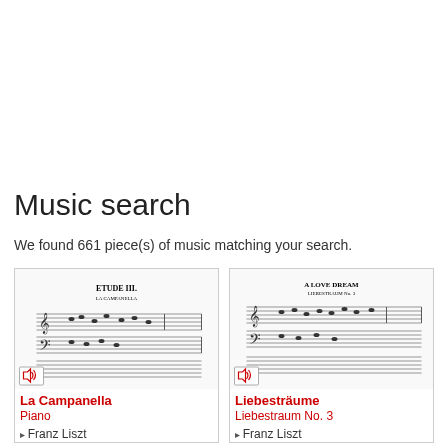Music search
We found 661 piece(s) of music matching your search.
[Figure (screenshot): Sheet music thumbnail for La Campanella (Etude III) with speaker icon]
La Campanella
Piano
Franz Liszt
[Figure (screenshot): Sheet music thumbnail for Liebesträume (A Love Dream) with speaker icon]
Liebesträume
Liebestraum No. 3
Franz Liszt